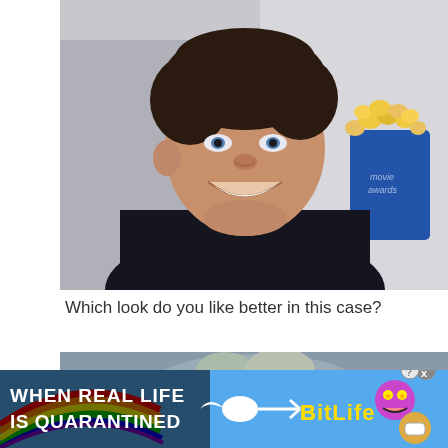[Figure (photo): Man smiling at camera in dark jacket, with a blue popcorn bucket visible in background. Photo taken at what appears to be an event or premiere.]
Which look do you like better in this case?
[Figure (photo): Partially visible person with grey/white hair, cropped at top of frame.]
[Figure (infographic): BitLife mobile game advertisement banner. Text reads 'WHEN REAL LIFE IS QUARANTINED' with BitLife logo and rainbow/emoji graphics. Has close and question mark buttons.]